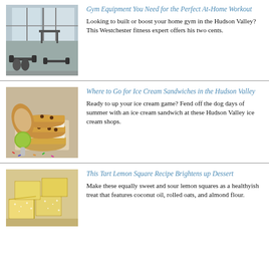[Figure (photo): Gym interior with equipment, barbells on floor, windows in background]
Gym Equipment You Need for the Perfect At-Home Workout
Looking to built or boost your home gym in the Hudson Valley? This Westchester fitness expert offers his two cents.
[Figure (photo): Stack of ice cream sandwiches made with cookies, with ice cream scooper and sprinkles]
Where to Go for Ice Cream Sandwiches in the Hudson Valley
Ready to up your ice cream game? Fend off the dog days of summer with an ice cream sandwich at these Hudson Valley ice cream shops.
[Figure (photo): Lemon squares dusted with powdered sugar on a surface]
This Tart Lemon Square Recipe Brightens up Dessert
Make these equally sweet and sour lemon squares as a healthyish treat that features coconut oil, rolled oats, and almond flour.